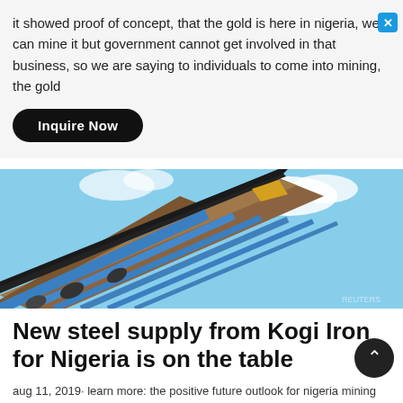it showed proof of concept, that the gold is here in nigeria, we can mine it but government cannot get involved in that business, so we are saying to individuals to come into mining, the gold
Inquire Now
[Figure (photo): Industrial mining conveyor belt viewed from below at an angle against a blue sky, showing orange-brown ore material on the belt with blue structural supports.]
New steel supply from Kogi Iron for Nigeria is on the table
aug 11, 2019· learn more: the positive future outlook for nigeria mining sector or understanding governments influence in nigeria. regarding onex, the review found that the largest proposed